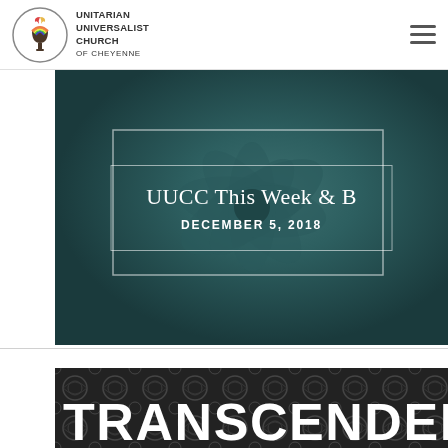Unitarian Universalist Church of Cheyenne
[Figure (photo): Succulent plant close-up with teal/green tones, overlaid with decorative border and text reading 'UUCC This Week & B' and 'DECEMBER 5, 2018']
[Figure (photo): Dark decorative tile/mosaic pattern in black and grey tones with large white bold text reading 'TRANSCENDENT M']